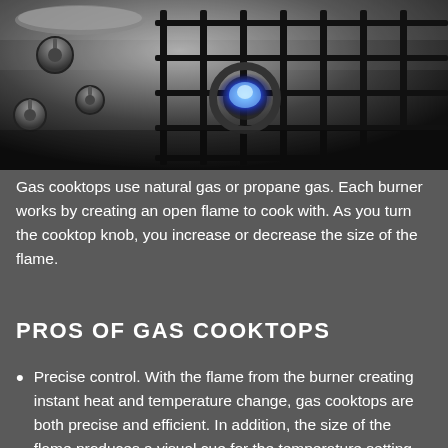[Figure (photo): Close-up photograph of a stainless steel gas cooktop with cast iron grates and a blue flame burning on one burner, with a pan visible at the top left.]
Gas cooktops use natural gas or propane gas. Each burner works by creating an open flame to cook with. As you turn the cooktop knob, you increase or decrease the size of the flame.
PROS OF GAS COOKTOPS
Precise control. With the flame from the burner creating instant heat and temperature change, gas cooktops are both precise and efficient. In addition, the size of the flame produces a visual cue for the temperature setting.